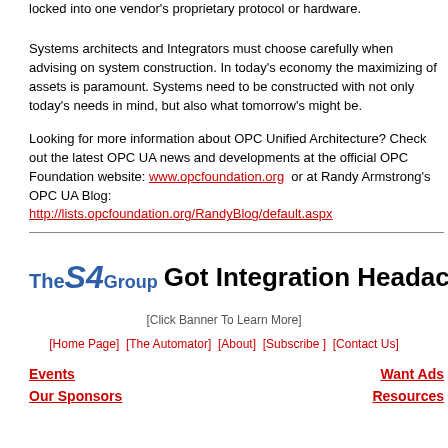locked into one vendor's proprietary protocol or hardware.
Systems architects and Integrators must choose carefully when advising on system construction. In today's economy the maximizing of assets is paramount. Systems need to be constructed with not only today's needs in mind, but also what tomorrow's might be.
Looking for more information about OPC Unified Architecture? Check out the latest OPC UA news and developments at the official OPC Foundation website: www.opcfoundation.org  or at Randy Armstrong's OPC UA Blog: http://lists.opcfoundation.org/RandyBlog/default.aspx
[Figure (logo): The S4 Group logo with text 'Got Integration Headache']
[Click Banner To Learn More]
[Home Page]  [The Automator]  [About]  [Subscribe ]  [Contact Us]
Events  Want Ads  Our Sponsors  Resources